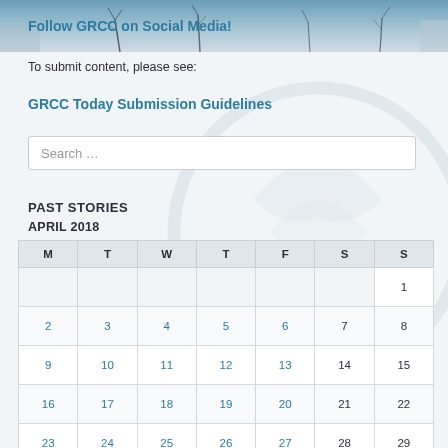[Figure (photo): Banner photo of trees and sky in winter, partially visible at top of page]
Follow GRCC on Social Media!
To submit content, please see:
GRCC Today Submission Guidelines
PAST STORIES
APRIL 2018
| M | T | W | T | F | S | S |
| --- | --- | --- | --- | --- | --- | --- |
|  |  |  |  |  |  | 1 |
| 2 | 3 | 4 | 5 | 6 | 7 | 8 |
| 9 | 10 | 11 | 12 | 13 | 14 | 15 |
| 16 | 17 | 18 | 19 | 20 | 21 | 22 |
| 23 | 24 | 25 | 26 | 27 | 28 | 29 |